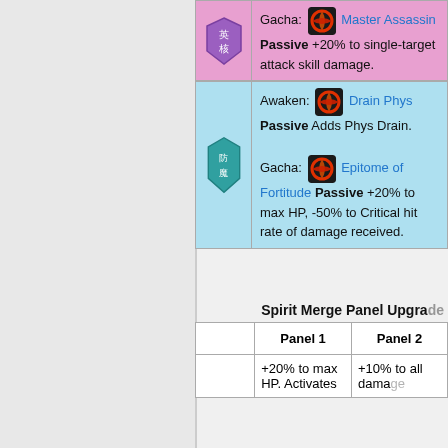| Icon | Description |
| --- | --- |
| [purple badge] | Gacha: [icon] Master Assassin Passive +20% to single-target attack skill damage. |
| [teal badge 防魔] | Awaken: [icon] Drain Phys Passive Adds Phys Drain.
Gacha: [icon] Epitome of Fortitude Passive +20% to max HP, -50% to Critical hit rate of damage received. |
Spirit Merge Panel Upgrade
|  | Panel 1 | Panel 2 |
| --- | --- | --- |
|  | +20% to max HP. Activates | +10% to all damage |